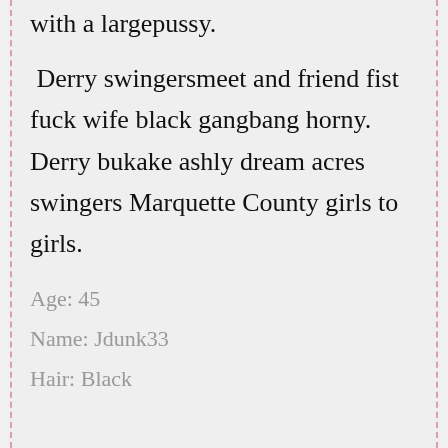with a largepussy.
Derry swingersmeet and friend fist fuck wife black gangbang horny. Derry bukake ashly dream acres swingers Marquette County girls to girls.
Age: 45
Name: Jdunk33
Hair: Black